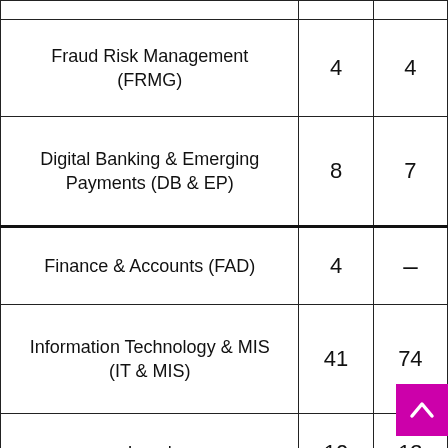| Department | Col1 | Col2 |
| --- | --- | --- |
| Fraud Risk Management (FRMG) | 4 | 4 |
| Digital Banking & Emerging Payments (DB & EP) | 8 | 7 |
| Finance & Accounts (FAD) | 4 | – |
| Information Technology & MIS (IT & MIS) | 41 | 74 |
| Legal | 10 | 13 |
| Risk Management – Information Security Group (ISG) | 4 | 2 |